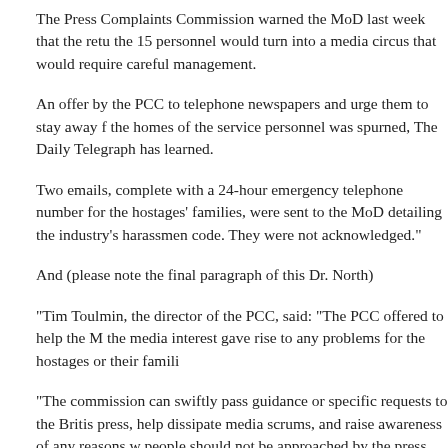The Press Complaints Commission warned the MoD last week that the return of the 15 personnel would turn into a media circus that would require careful management.
An offer by the PCC to telephone newspapers and urge them to stay away from the homes of the service personnel was spurned, The Daily Telegraph has learned.
Two emails, complete with a 24-hour emergency telephone number for the hostages' families, were sent to the MoD detailing the industry's harassment code. They were not acknowledged."
And (please note the final paragraph of this Dr. North)
"Tim Toulmin, the director of the PCC, said: "The PCC offered to help the MoD if the media interest gave rise to any problems for the hostages or their families.
"The commission can swiftly pass guidance or specific requests to the British press, help dissipate media scrums, and raise awareness of any reasons why people should not be approached by the press.
"The Ministry of Defence chose, for some reason, not to come back to us."
Mr Browne's claim that he merely signed off the Royal Navy's decision will come under further scrutiny today. The ministry's own written instructions for conta...